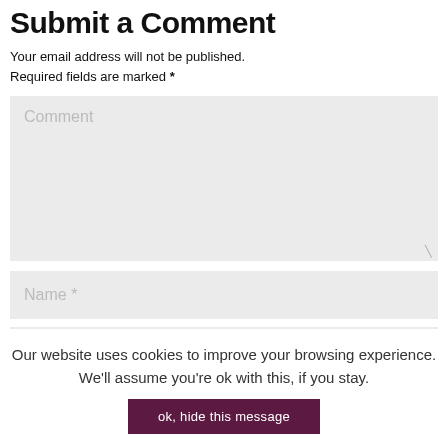Submit a Comment
Your email address will not be published. Required fields are marked *
Comment
Name *
Our website uses cookies to improve your browsing experience. We'll assume you're ok with this, if you stay.
ok, hide this message